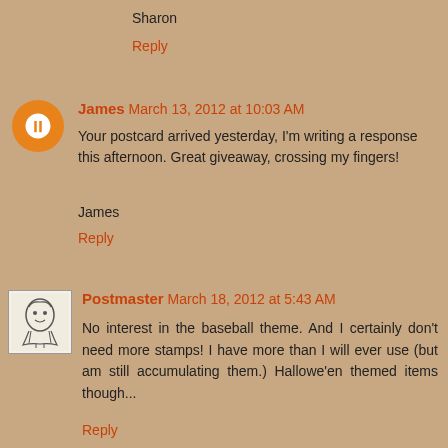Sharon
Reply
James  March 13, 2012 at 10:03 AM
Your postcard arrived yesterday, I'm writing a response this afternoon. Great giveaway, crossing my fingers!
James
Reply
Postmaster  March 18, 2012 at 5:43 AM
No interest in the baseball theme. And I certainly don't need more stamps! I have more than I will ever use (but am still accumulating them.) Hallowe'en themed items though...
Reply